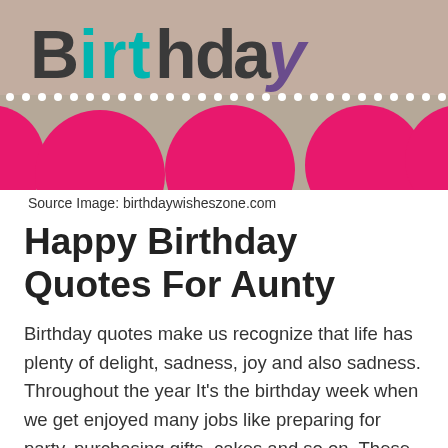[Figure (illustration): Birthday card image with 'Birthday' text in teal and dark colors on a beige/tan background with large pink polka dots, and a row of small white dots across the middle.]
Source Image: birthdaywisheszone.com
Happy Birthday Quotes For Aunty
Birthday quotes make us recognize that life has plenty of delight, sadness, joy and also sadness. Throughout the year It's the birthday week when we get enjoyed many jobs like preparing for party, purchasing gifts, cakes and so on. These quotes aid us duplicate the memories to our loved ones.